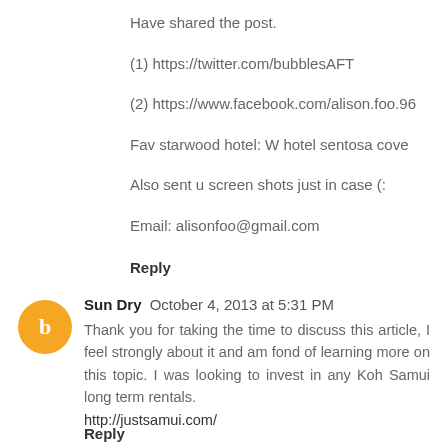Have shared the post.
(1) https://twitter.com/bubblesAFT
(2) https://www.facebook.com/alison.foo.96
Fav starwood hotel: W hotel sentosa cove
Also sent u screen shots just in case (:
Email: alisonfoo@gmail.com
Reply
Sun Dry  October 4, 2013 at 5:31 PM
Thank you for taking the time to discuss this article, I feel strongly about it and am fond of learning more on this topic. I was looking to invest in any Koh Samui long term rentals. http://justsamui.com/
Reply